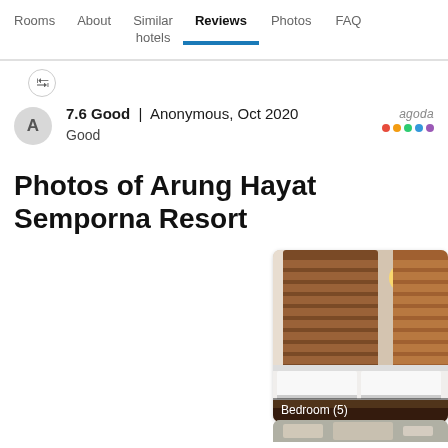Rooms | About | Similar hotels | Reviews | Photos | FAQ
7.6 Good | Anonymous, Oct 2020
Good
Photos of Arung Hayat Semporna Resort
[Figure (photo): Hotel bedroom photo showing a wooden headboard with wall lamp, white bed linen, and dark wood flooring. Caption: Bedroom (5)]
[Figure (photo): Partial view of a second hotel photo (cropped at bottom of page)]